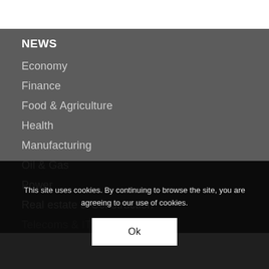NEWS
Economy
Finance
Food & Agriculture
Health
Manufacturing
Oil & Gas
Power
Real estate & Construction
Telecoms & IT
Tourism
This site uses cookies. By continuing to browse the site, you are agreeing to our use of cookies.